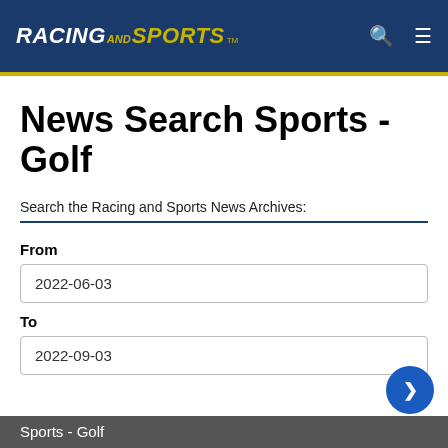RACING AND SPORTS™
News Search Sports - Golf
Search the Racing and Sports News Archives:
From
2022-06-03
To
2022-09-03
Sports - Golf